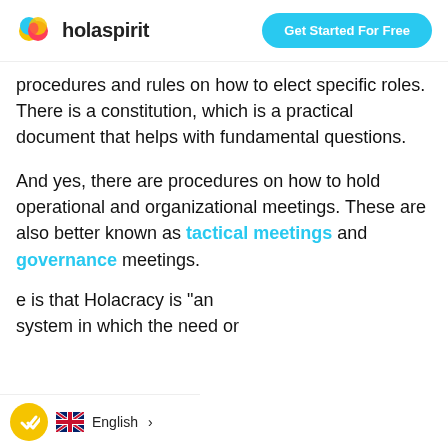holaspirit | Get Started For Free
procedures and rules on how to elect specific roles. There is a constitution, which is a practical document that helps with fundamental questions.
And yes, there are procedures on how to hold operational and organizational meetings. These are also better known as tactical meetings and governance meetings.
e is that Holacracy is "an system in which the need or